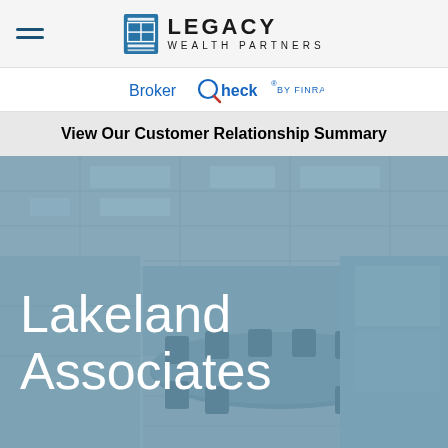[Figure (logo): Legacy Wealth Partners logo with hamburger menu icon on left]
[Figure (logo): BrokerCheck by FINRA logo]
View Our Customer Relationship Summary
[Figure (photo): Office interior with conference room, chairs, glass walls, with overlay text reading 'Lakeland Associates']